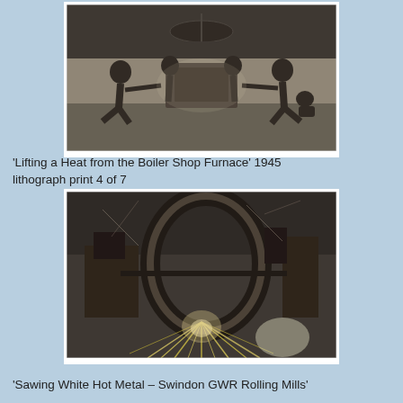[Figure (photo): Black and white lithograph print showing workers lifting a heat from a boiler shop furnace. Several figures are straining against heavy industrial equipment in a dark workshop setting with chains and machinery visible overhead.]
'Lifting a Heat from the Boiler Shop Furnace' 1945 lithograph print 4 of 7
[Figure (photo): Black and white lithograph print showing industrial rolling mill machinery at Swindon GWR Rolling Mills, with sparks flying from white hot metal being sawed or cut, large circular forms and industrial equipment visible.]
'Sawing White Hot Metal – Swindon GWR Rolling Mills'